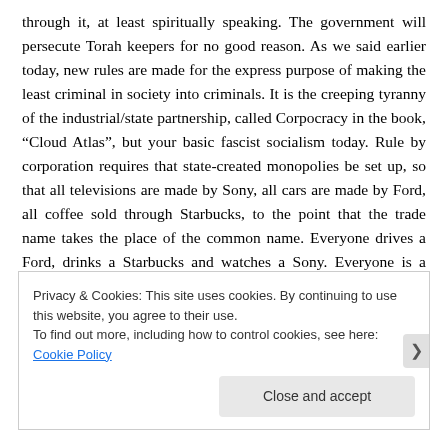through it, at least spiritually speaking. The government will persecute Torah keepers for no good reason. As we said earlier today, new rules are made for the express purpose of making the least criminal in society into criminals. It is the creeping tyranny of the industrial/state partnership, called Corpocracy in the book, “Cloud Atlas”, but your basic fascist socialism today. Rule by corporation requires that state-created monopolies be set up, so that all televisions are made by Sony, all cars are made by Ford, all coffee sold through Starbucks, to the point that the trade name takes the place of the common name. Everyone drives a Ford, drinks a Starbucks and watches a Sony. Everyone is a criminal and
Privacy & Cookies: This site uses cookies. By continuing to use this website, you agree to their use.
To find out more, including how to control cookies, see here: Cookie Policy